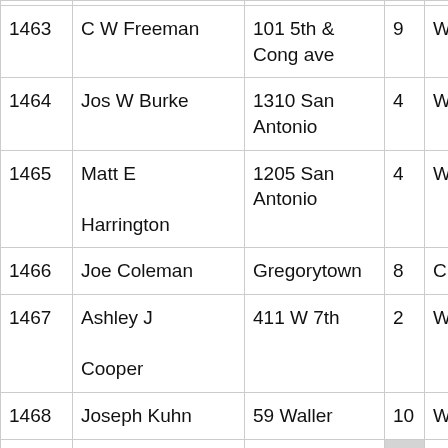|  | Name | Address | Ward |  |
| --- | --- | --- | --- | --- |
| 1463 | C W Freeman | 101 5th & Cong ave | 9 | W |
| 1464 | Jos W Burke | 1310 San Antonio | 4 | W |
| 1465 | Matt E
Harrington | 1205 San Antonio | 4 | W |
| 1466 | Joe Coleman | Gregorytown | 8 | C |
| 1467 | Ashley J
Cooper | 411 W 7th | 2 | W |
| 1468 | Joseph Kuhn | 59 Waller | 10 | W |
| 1469 | Gustav
Bukouski ?? | 65 Waller | 10 [highlighted] | W |